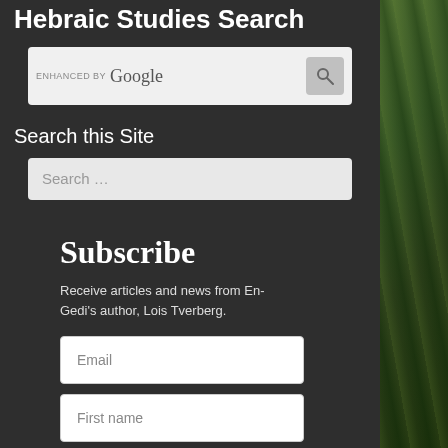Hebraic Studies Search
[Figure (screenshot): Google enhanced search box with search button]
Search this Site
[Figure (screenshot): Search input field with placeholder text 'Search ...']
Subscribe
Receive articles and news from En-Gedi's author, Lois Tverberg.
[Figure (screenshot): Email input field]
[Figure (screenshot): First name input field]